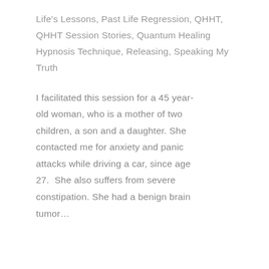Life's Lessons, Past Life Regression, QHHT, QHHT Session Stories, Quantum Healing Hypnosis Technique, Releasing, Speaking My Truth
I facilitated this session for a 45 year-old woman, who is a mother of two children, a son and a daughter. She contacted me for anxiety and panic attacks while driving a car, since age 27.  She also suffers from severe constipation. She had a benign brain tumor…